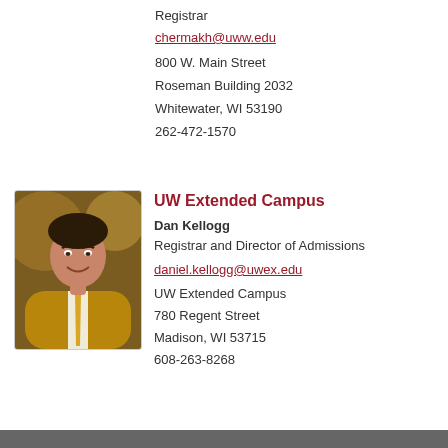Registrar
chermakh@uww.edu
800 W. Main Street
Roseman Building 2032
Whitewater, WI 53190
262-472-1570
[Figure (photo): Headshot of Dan Kellogg, a man in a golden/tan blazer with a yellow tie and white shirt, smiling.]
UW Extended Campus
Dan Kellogg
Registrar and Director of Admissions
daniel.kellogg@uwex.edu
UW Extended Campus
780 Regent Street
Madison, WI 53715
608-263-8268